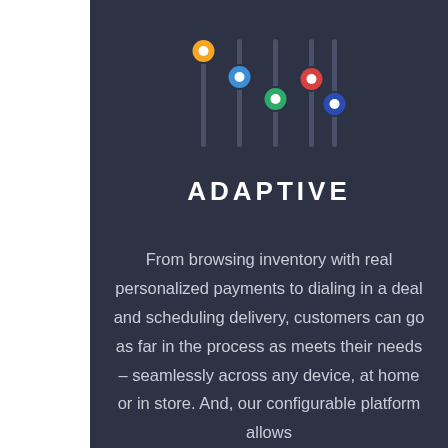[Figure (logo): Colorful equalizer/slider knobs icon with five vertical lines topped with colored circles: orange, blue, green, red, dark blue on a dark background]
ADAPTIVE
From browsing inventory with real personalized payments to dialing in a deal and scheduling delivery, customers can go as far in the process as meets their needs – seamlessly across any device, at home or in store. And, our configurable platform allows